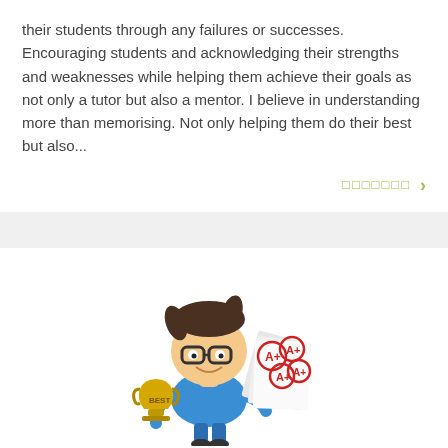their students through any failures or successes. Encouraging students and acknowledging their strengths and weaknesses while helping them achieve their goals as not only a tutor but also a mentor. I believe in understanding more than memorising. Not only helping them do their best but also...
□□□□□□□ >
[Figure (illustration): Cartoon illustration of a boy with glasses holding a gold trophy labeled BEST and fanning out several report cards showing A+ grades.]